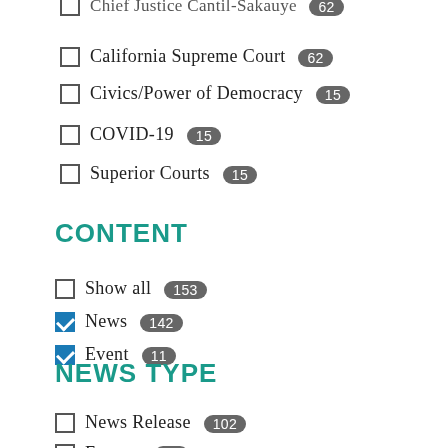California Supreme Court 62
Civics/Power of Democracy 15
COVID-19 15
Superior Courts 15
CONTENT
Show all 153
News 142
Event 11
NEWS TYPE
News Release 102
Feature 40